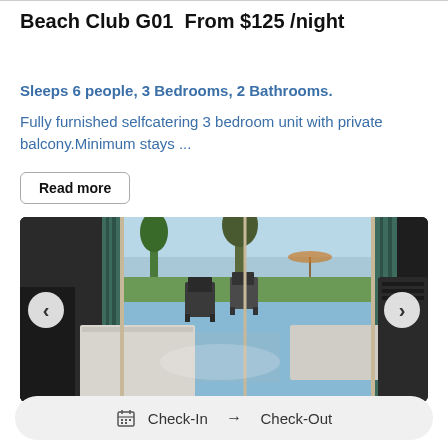Beach Club G01  From $125 /night
Sleeps 6 people, 3 Bedrooms, 2 Bathrooms.
Fully furnished selfcatering 3 bedroom unit with private balcony.Minimum stays ...
Read more
[Figure (photo): Interior photo of a furnished unit showing a living/dining area with a table, chairs, and sliding glass doors opening to a patio with outdoor chairs and a beach/ocean view in the background. Navigation arrows on left and right sides of the image.]
Check-In → Check-Out